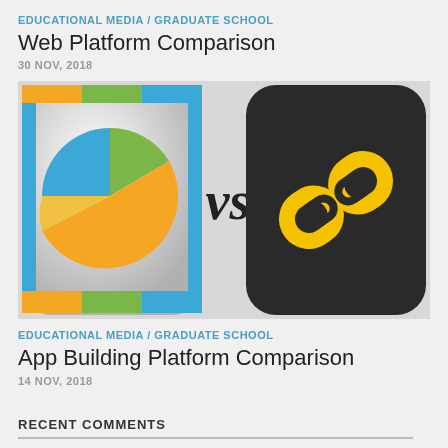EDUCATIONAL MEDIA / GRADUATE SCHOOL
Web Platform Comparison
30 NOV, 2018
[Figure (illustration): Two app icons side by side with 'vs' text between them. Left icon shows a pie chart app (colorful pie chart with blue, green, orange, yellow slices on silver/white background with orange/green/blue border). Right icon shows a dark rounded square with a golden chain-link or paperclip style logo. Center shows italic 'vs' text in dark color.]
EDUCATIONAL MEDIA / GRADUATE SCHOOL
App Building Platform Comparison
14 NOV, 2018
RECENT COMMENTS